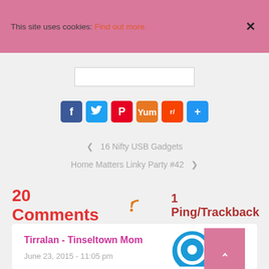This site uses cookies: Find out more. ×
[Figure (screenshot): Social sharing icons: Facebook, Twitter, Pinterest, Yummly, Reddit, Share]
< 16 Nifty USB Gadgets
Home Matters Linky Party #42 >
20 Comments  1 Ping/Trackback
Tirralan - Tinseltown Mom
June 23, 2015 - 11:05 pm